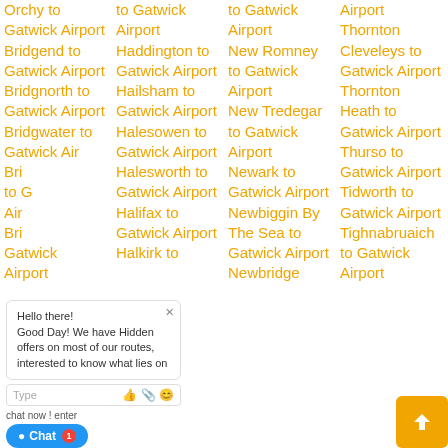Orchy to Gatwick Airport
Bridgend to Gatwick Airport
Bridgnorth to Gatwick Airport
Bridgwater to Gatwick Airport
to Gatwick Airport
to Gatwick Airport
to Gatwick Airport
to Gatwick Airport Haddington to Gatwick Airport
Hailsham to Gatwick Airport
Halesowen to Gatwick Airport
Halesworth to Gatwick Airport
Halifax to Gatwick Airport
Halkirk to
to Gatwick Airport
New Romney to Gatwick Airport
New Tredegar to Gatwick Airport
Newark to Gatwick Airport
Newbiggin By The Sea to Gatwick Airport
Newbridge
Airport Thornton Cleveleys to Gatwick Airport
Thornton Heath to Gatwick Airport
Thurso to Gatwick Airport
Tidworth to Gatwick Airport
Tighnabruaich to Gatwick Airport